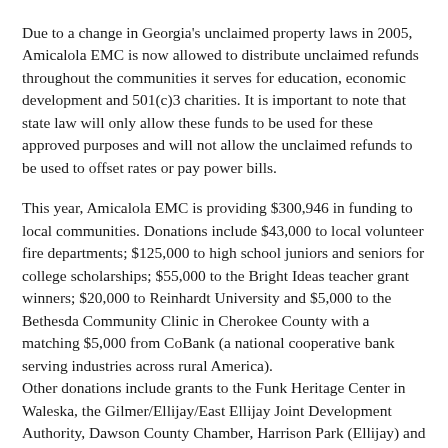Due to a change in Georgia's unclaimed property laws in 2005, Amicalola EMC is now allowed to distribute unclaimed refunds throughout the communities it serves for education, economic development and 501(c)3 charities. It is important to note that state law will only allow these funds to be used for these approved purposes and will not allow the unclaimed refunds to be used to offset rates or pay power bills.
This year, Amicalola EMC is providing $300,946 in funding to local communities. Donations include $43,000 to local volunteer fire departments; $125,000 to high school juniors and seniors for college scholarships; $55,000 to the Bright Ideas teacher grant winners; $20,000 to Reinhardt University and $5,000 to the Bethesda Community Clinic in Cherokee County with a matching $5,000 from CoBank (a national cooperative bank serving industries across rural America). Other donations include grants to the Funk Heritage Center in Waleska, the Gilmer/Ellijay/East Ellijay Joint Development Authority, Dawson County Chamber, Harrison Park (Ellijay) and the Pickens County Chamber.
Amicalola EMC continues to be a strong supporter of the communities it serves. While focused on providing safe, reliable and affordable electricity, Amicalola EMC is also working to